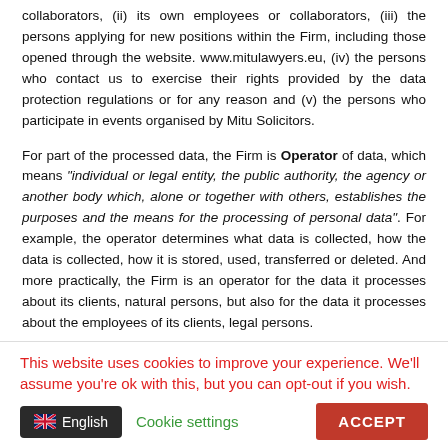collaborators, (ii) its own employees or collaborators, (iii) the persons applying for new positions within the Firm, including those opened through the website. www.mitulawyers.eu, (iv) the persons who contact us to exercise their rights provided by the data protection regulations or for any reason and (v) the persons who participate in events organised by Mitu Solicitors.
For part of the processed data, the Firm is Operator of data, which means "individual or legal entity, the public authority, the agency or another body which, alone or together with others, establishes the purposes and the means for the processing of personal data". For example, the operator determines what data is collected, how the data is collected, how it is stored, used, transferred or deleted. And more practically, the Firm is an operator for the data it processes about its clients, natural persons, but also for the data it processes about the employees of its clients, legal persons.
Also, for certain categories of data related to specific processing, the Firm may also be a person empowered by another operator or...
This website uses cookies to improve your experience. We'll assume you're ok with this, but you can opt-out if you wish.